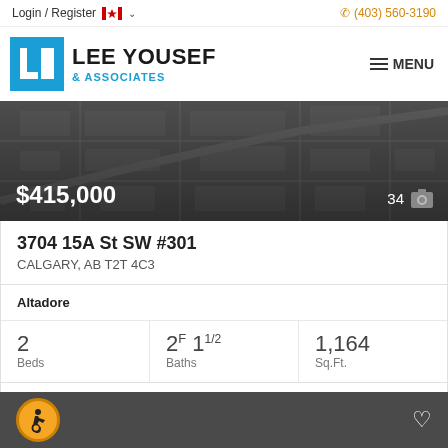Login / Register | (403) 560-3190
[Figure (logo): Lee Yousef & Associates real estate logo with blue LY monogram box and wordmark]
[Figure (photo): Dark map/satellite view property listing image showing $415,000 price and 34 photos]
3704 15A St SW #301
CALGARY, AB T2T 4C3
Altadore
2 Beds  2F 1 1/2 Baths  1,164 Sq.Ft.
Century 21 Bravo Realty
[Figure (illustration): Orange accessibility icon (wheelchair symbol) in circle, and white heart icon on dark grey footer bar]